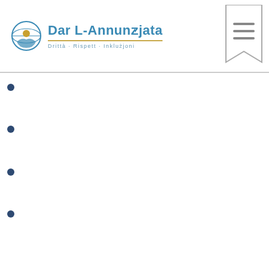Dar L-Annunzjata · Drittà · Rispett · Inklużjoni